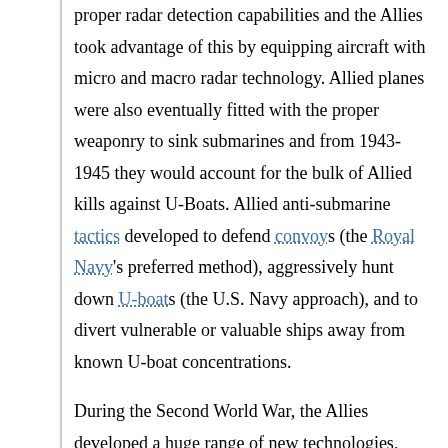proper radar detection capabilities and the Allies took advantage of this by equipping aircraft with micro and macro radar technology. Allied planes were also eventually fitted with the proper weaponry to sink submarines and from 1943-1945 they would account for the bulk of Allied kills against U-Boats. Allied anti-submarine tactics developed to defend convoys (the Royal Navy's preferred method), aggressively hunt down U-boats (the U.S. Navy approach), and to divert vulnerable or valuable ships away from known U-boat concentrations.
During the Second World War, the Allies developed a huge range of new technologies, weapons and tactics to counter the submarine danger. These included: